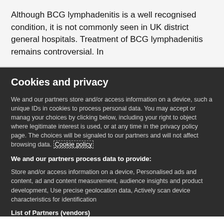Although BCG lymphadenitis is a well recognised condition, it is not commonly seen in UK district general hospitals. Treatment of BCG lymphadenitis remains controversial. In
Cookies and privacy
We and our partners store and/or access information on a device, such a unique IDs in cookies to process personal data. You may accept or manage your choices by clicking below, including your right to object where legitimate interest is used, or at any time in the privacy policy page. These choices will be signaled to our partners and will not affect browsing data. Cookie policy
We and our partners process data to provide:
Store and/or access information on a device, Personalised ads and content, ad and content measurement, audience insights and product development, Use precise geolocation data, Actively scan device characteristics for identification
List of Partners (vendors)
I Accept